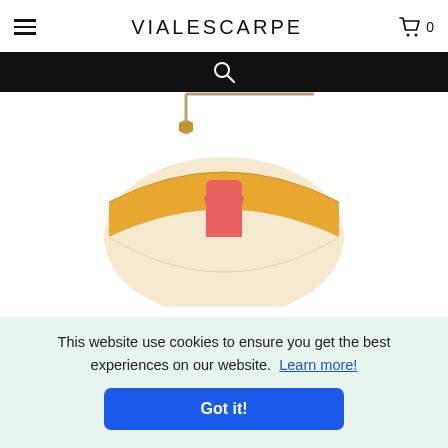VIALESCARPE
[Figure (screenshot): Black search bar with a magnifying glass icon in the center]
[Figure (photo): A colorblock saddle bag with cream body, yellow/mustard flap, pink strap and gold buckle hardware, with a chain/strap visible at top]
This website use cookies to ensure you get the best experiences on our website. Learn more!
Got it!
BO
Cod. Prod. SRK-BOZ1811GOC